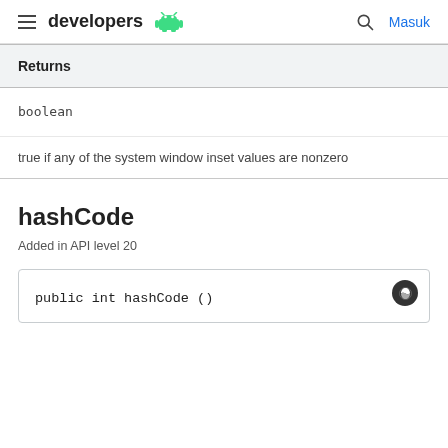developers
| Returns |
| --- |
| boolean |
| true if any of the system window inset values are nonzero |
hashCode
Added in API level 20
public int hashCode ()